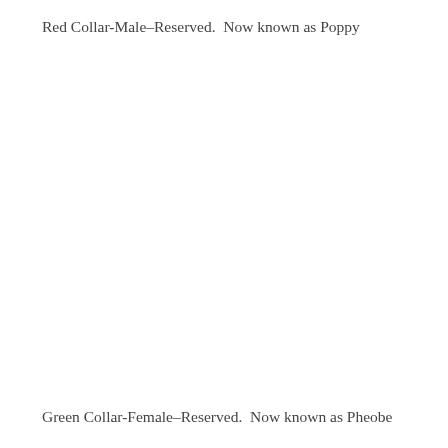Red Collar-Male–Reserved.  Now known as Poppy
Green Collar-Female–Reserved.  Now known as Pheobe